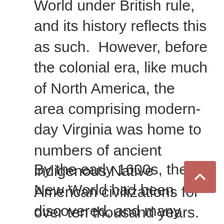World under British rule, and its history reflects this as such.  However, before the colonial era, like much of North America, the area comprising modern-day Virginia was home to numbers of ancient indigenous Native American civilizations for over ten thousand years.  By the 16th century, the Algonquin had begun establishing permanent settlements with vast farming operations in the region.  In addition, the Sioux and Iroquois nations maintained a significant presence in the area.  For a century, Native Americans thrived in the region and had established hundreds of settlements.
By the early 1600s, the New World had been discovered, and many different European empires began exploring the region and claiming land.  In 1607, the English founded their first permanent settlement in the New World at Jamestown, Virginia.  Almost from its establishment, the settlement at Jamestown faced hard